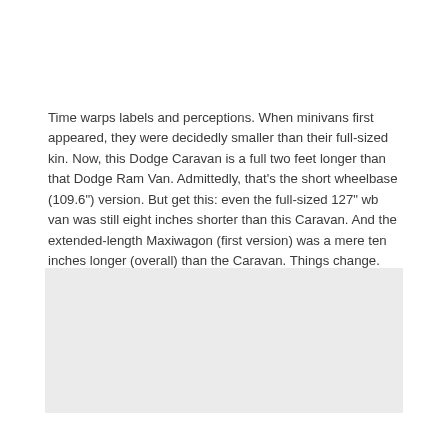Time warps labels and perceptions. When minivans first appeared, they were decidedly smaller than their full-sized kin. Now, this Dodge Caravan is a full two feet longer than that Dodge Ram Van. Admittedly, that's the short wheelbase (109.6") version. But get this: even the full-sized 127" wb van was still eight inches shorter than this Caravan. And the extended-length Maxiwagon (first version) was a mere ten inches longer (overall) than the Caravan. Things change. Let's take a closer look at one of them. Which one? Did you have to ask?
[Figure (photo): Light gray rectangular placeholder image area]